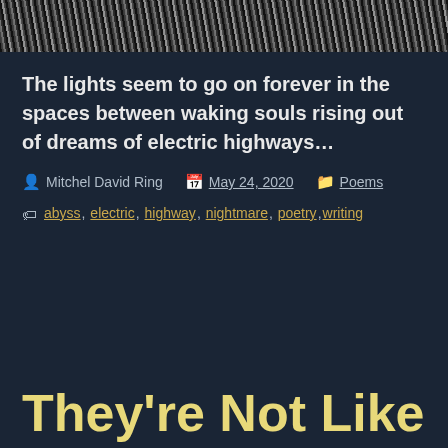[Figure (photo): Dark image strip at top of page, appears to be a night or dark abstract photo with diagonal light streaks]
The lights seem to go on forever in the spaces between waking souls rising out of dreams of electric highways…
Post author: Mitchel David Ring  Post date: May 24, 2020  Post category: Poems
Tags: abyss, electric, highway, nightmare, poetry, writing
They're Not Like